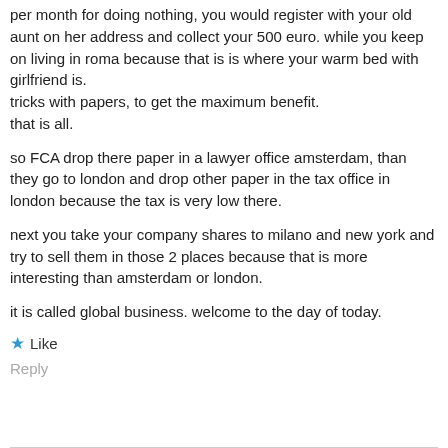per month for doing nothing, you would register with your old aunt on her address and collect your 500 euro. while you keep on living in roma because that is is where your warm bed with girlfriend is.
tricks with papers, to get the maximum benefit.
that is all.
so FCA drop there paper in a lawyer office amsterdam, than they go to london and drop other paper in the tax office in london because the tax is very low there.
next you take your company shares to milano and new york and try to sell them in those 2 places because that is more interesting than amsterdam or london.
it is called global business. welcome to the day of today.
★ Like
Reply